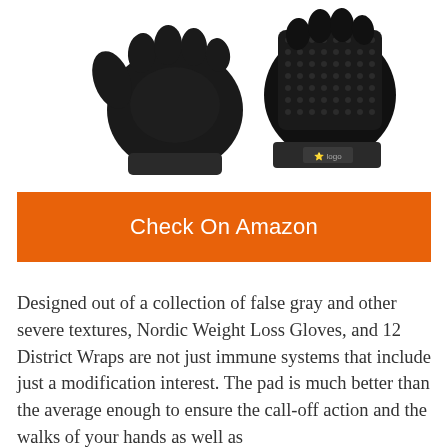[Figure (photo): Two black workout/weight lifting gloves shown side by side — left glove showing palm side, right glove showing back with mesh texture and a logo strap.]
Check On Amazon
Designed out of a collection of false gray and other severe textures, Nordic Weight Loss Gloves, and 12 District Wraps are not just immune systems that include just a modification interest. The pad is much better than the average enough to ensure the call-off action and the walks of your hands as well as